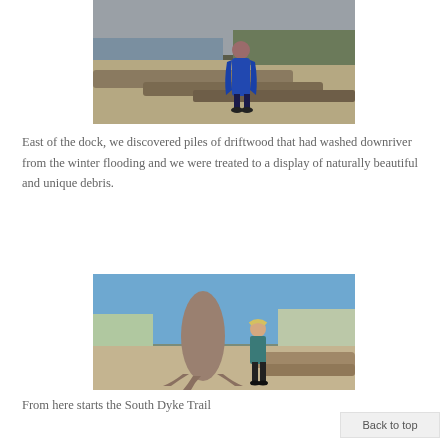[Figure (photo): A woman in a blue dress and cardigan standing on a sandy beach among driftwood logs with water and trees in the background on a cloudy day.]
East of the dock, we discovered piles of driftwood that had washed downriver from the winter flooding and we were treated to a display of naturally beautiful and unique debris.
[Figure (photo): A woman in a teal top and black pants leaning against a large driftwood stump on a beach under a blue sky, with logs and bare trees in the background.]
From here starts the South Dyke Trail